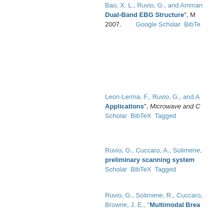Bao, X. L., Ruvio, G., and Amman... "Dual-Band EBG Structure", M... 2007. Google Scholar BibTe...
Leon-Lerma, F., Ruvio, G., and A... "Applications", Microwave and C... Scholar BibTeX Tagged
Ruvio, G., Cuccaro, A., Solimene, ... "preliminary scanning system..." Scholar BibTeX Tagged
Ruvio, G., Solimene, R., Cuccaro,... Browne, J. E., "Multimodal Brea... Resonance and Computed To... Scholar BibTeX Tagged
Ruvio, G. and Ammann, M. J., "A... Optical Communications, vol. 3, n...
Bao, X. L., Ruvio, G., Ammann, M... "Surface Substrate", IEEE Ante... Google Scholar BibTeX Tagged